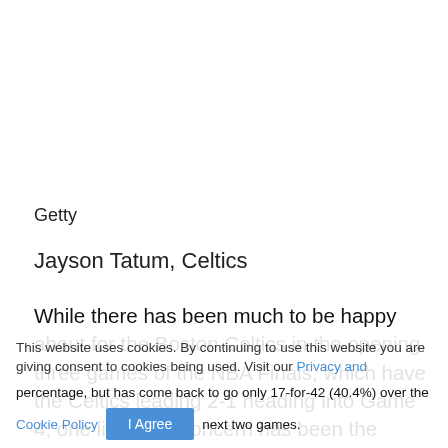[Figure (photo): White/blank image area at top of page (photo placeholder for Jayson Tatum, Celtics)]
Getty
Jayson Tatum, Celtics
While there has been much to be happy about for the Boston Celtics in the opening three games of the NBA Finals, which have the Celtics leading 2-1 heading into Game 4, one lingering concern has been the shooting of Jayson Tatum, who started the series with a 3-for-17 percentage, but has come back to go only 17-for-42 (40.4%) over the next two games.
This website uses cookies. By continuing to use this website you are giving consent to cookies being used. Visit our Privacy and Cookie Policy.